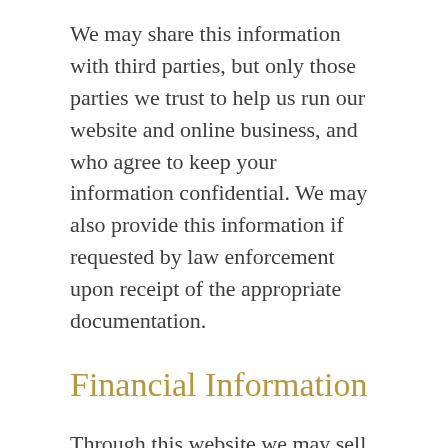We may share this information with third parties, but only those parties we trust to help us run our website and online business, and who agree to keep your information confidential. We may also provide this information if requested by law enforcement upon receipt of the appropriate documentation.
Financial Information
Through this website we may sell products and services. In order to purchase our products and services you will be asked to provide financial information. Typically this information will